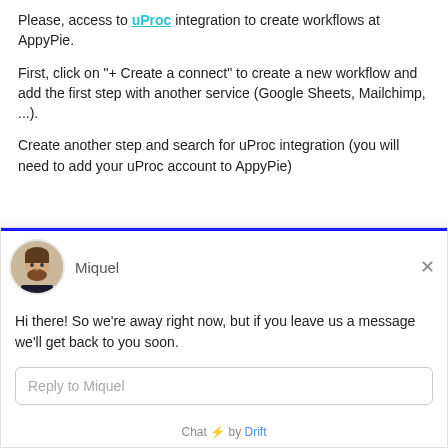Please, access to uProc integration to create workflows at AppyPie.
First, click on "+ Create a connect" to create a new workflow and add the first step with another service (Google Sheets, Mailchimp, ...).
Create another step and search for uProc integration (you will need to add your uProc account to AppyPie)
Hi there! So we're away right now, but if you leave us a message we'll get back to you soon.
Reply to Miquel
Chat ⚡ by Drift